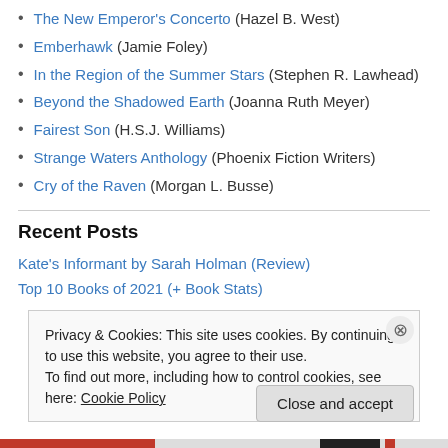The New Emperor's Concerto (Hazel B. West)
Emberhawk (Jamie Foley)
In the Region of the Summer Stars (Stephen R. Lawhead)
Beyond the Shadowed Earth (Joanna Ruth Meyer)
Fairest Son (H.S.J. Williams)
Strange Waters Anthology (Phoenix Fiction Writers)
Cry of the Raven (Morgan L. Busse)
Recent Posts
Kate's Informant by Sarah Holman (Review)
Top 10 Books of 2021 (+ Book Stats)
Privacy & Cookies: This site uses cookies. By continuing to use this website, you agree to their use.
To find out more, including how to control cookies, see here: Cookie Policy